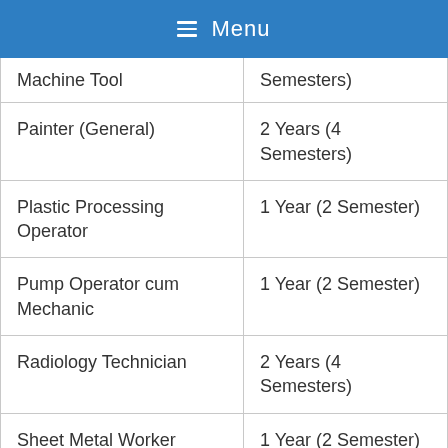≡ Menu
| Trade/Course | Duration |
| --- | --- |
| Machine Tool | Semesters) |
| Painter (General) | 2 Years (4 Semesters) |
| Plastic Processing Operator | 1 Year (2 Semester) |
| Pump Operator cum Mechanic | 1 Year (2 Semester) |
| Radiology Technician | 2 Years (4 Semesters) |
| Sheet Metal Worker | 1 Year (2 Semester) |
| Solar Technician | 1 Year (2 |